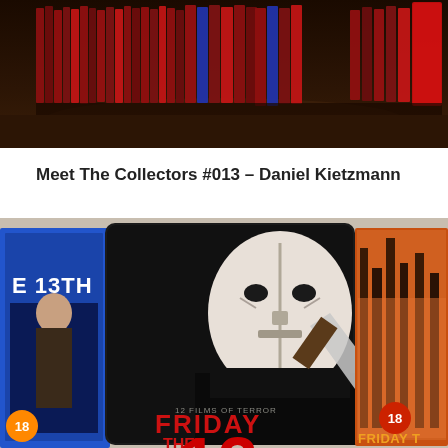[Figure (photo): A row of Blu-ray or DVD cases lined up on a dark wooden surface, viewed from the side showing their spines. Some have red color accents. Shot from slightly above.]
Meet The Collectors #013 – Daniel Kietzmann
[Figure (photo): Friday the 13th Complete Collection tin case featuring Jason Voorhees in a hockey mask holding a machete, in black and white. Flanked by other Friday the 13th Blu-ray releases including a blue UK edition and an orange illustrated edition. An 18 certificate badge is visible.]